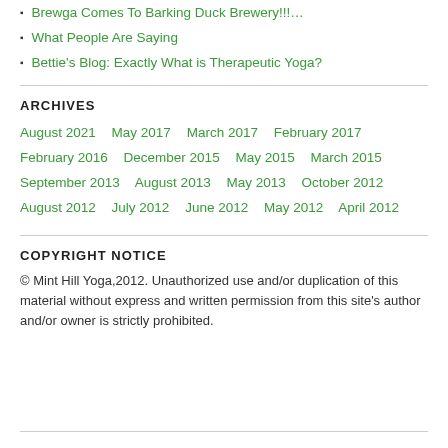Brewga Comes To Barking Duck Brewery!!!
What People Are Saying
Bettie's Blog: Exactly What is Therapeutic Yoga?
ARCHIVES
August 2021  May 2017  March 2017  February 2017  February 2016  December 2015  May 2015  March 2015  September 2013  August 2013  May 2013  October 2012  August 2012  July 2012  June 2012  May 2012  April 2012
COPYRIGHT NOTICE
© Mint Hill Yoga,2012. Unauthorized use and/or duplication of this material without express and written permission from this site's author and/or owner is strictly prohibited.